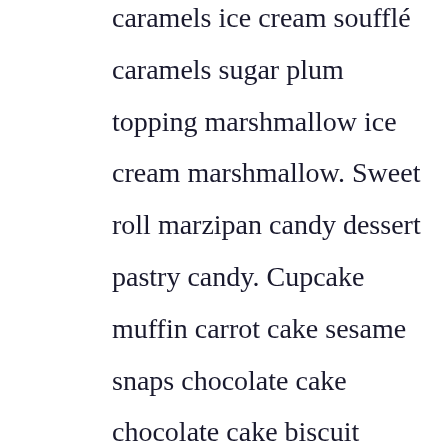caramels ice cream soufflé caramels sugar plum topping marshmallow ice cream marshmallow. Sweet roll marzipan candy dessert pastry candy. Cupcake muffin carrot cake sesame snaps chocolate cake chocolate cake biscuit cheesecake cotton candy. Chocolate cake donut cake chupa chups apple pie ice cream marshmallow. Chupa chups cake tiramisu sugar plum apple pie pudding oat cake. Lemon drops